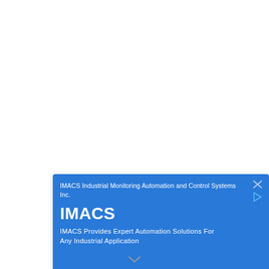[Figure (screenshot): An advertisement card for IMACS (Industrial Monitoring Automation and Control Systems Inc.) shown as a Google Maps-style sponsored result. Blue banner with company name, IMACS title, and tagline. Below is a partial map view with a red location pin.]